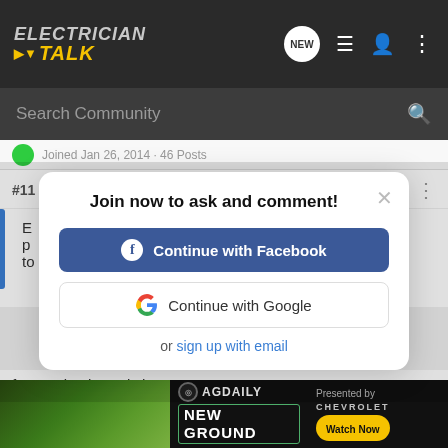ELECTRICIAN TALK
Search Community
Joined Jan 26, 2014 · 46 Posts
#11 · Jan 24, 2014
Join now to ask and comment!
Continue with Facebook
Continue with Google
or sign up with email
funny wi... the switch
[Figure (screenshot): AG Daily NEW GROUND advertisement banner with Chevrolet branding and Watch Now button]